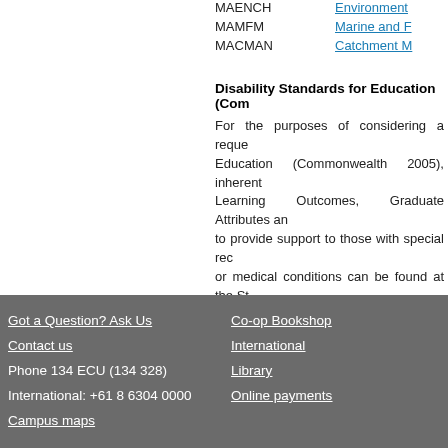| Code | Name |
| --- | --- |
| MAENCH | Environment... |
| MAMFM | Marine and F... |
| MACMAN | Catchment M... |
Disability Standards for Education (Comm...
For the purposes of considering a reque... Education (Commonwealth 2005), inherent... Learning Outcomes, Graduate Attributes an... to provide support to those with special rec... or medical conditions can be found at the St... http://intranet.ecu.edu.au/student/support/st...
Last Updated - Higher Education: 31/03/2006 VET: 31/...
Got a Question? Ask Us | Contact us | Phone 134 ECU (134 328) | International: +61 8 6304 0000 | Campus maps | Co-op Bookshop | International | Library | Online payments